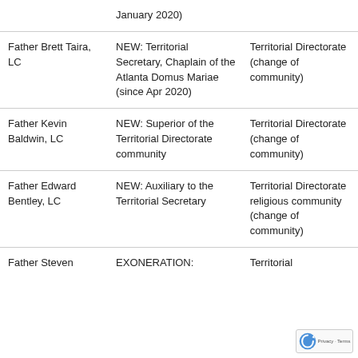|  | January 2020) |  |
| Father Brett Taira, LC | NEW: Territorial Secretary, Chaplain of the Atlanta Domus Mariae (since Apr 2020) | Territorial Directorate (change of community) |
| Father Kevin Baldwin, LC | NEW: Superior of the Territorial Directorate community | Territorial Directorate (change of community) |
| Father Edward Bentley, LC | NEW: Auxiliary to the Territorial Secretary | Territorial Directorate religious community (change of community) |
| Father Steven | EXONERATION: | Territorial |